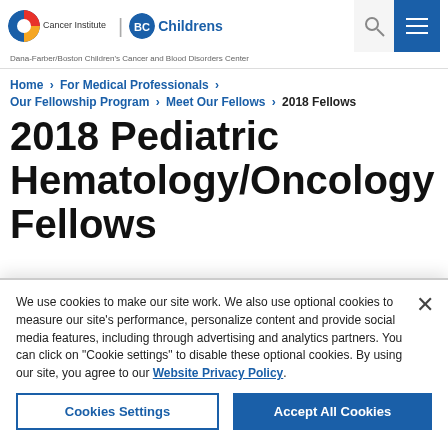Dana-Farber Cancer Institute | Boston Children's — Dana-Farber/Boston Children's Cancer and Blood Disorders Center
Home > For Medical Professionals > Our Fellowship Program > Meet Our Fellows > 2018 Fellows
2018 Pediatric Hematology/Oncology Fellows
We use cookies to make our site work. We also use optional cookies to measure our site's performance, personalize content and provide social media features, including through advertising and analytics partners. You can click on "Cookie settings" to disable these optional cookies. By using our site, you agree to our Website Privacy Policy.
Cookies Settings | Accept All Cookies